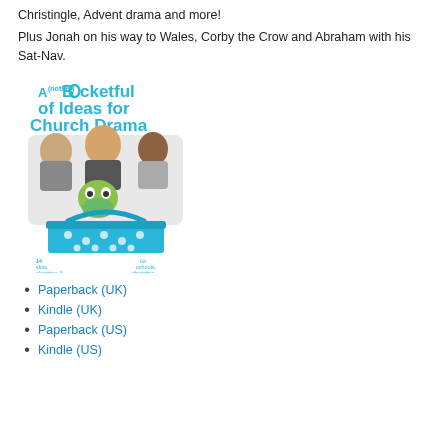Christingle, Advent drama and more!
Plus Jonah on his way to Wales, Corby the Crow and Abraham with his Sat-Nav.
[Figure (illustration): Book cover for 'A(nother) Bucketful of Ideas for Church Drama' by Fay Rowland. Features a blue polka-dot bucket overflowing with people and a puppet. Text reads: 14 skits, sketches & puppet shows, for schools, churches & family fun.]
Paperback (UK)
Kindle (UK)
Paperback (US)
Kindle (US)